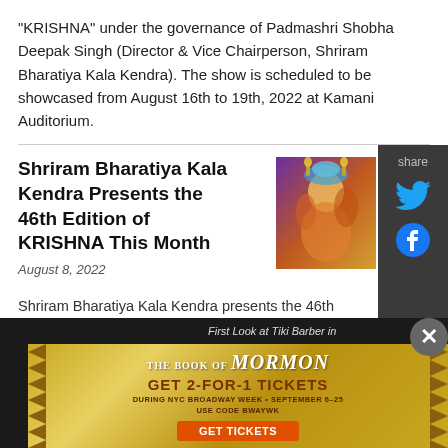“KRISHNA” under the governance of Padmashri Shobha Deepak Singh (Director & Vice Chairperson, Shriram Bharatiya Kala Kendra). The show is scheduled to be showcased from August 16th to 19th, 2022 at Kamani Auditorium.
Shriram Bharatiya Kala Kendra Presents the 46th Edition of KRISHNA This Month
August 8, 2022
[Figure (photo): Photo of performers in colorful costumes for KRISHNA dance drama]
Shriram Bharatiya Kala Kendra presents the 46th edition of ‘KRISHNA’ - mesmerising dance drama depicting the fascinating life of Lord Krishna, abounding with legends, myths, miracles and adulation.
[Figure (screenshot): Advertisement for The Book of Mormon - Get 2-for-1 tickets during NYC Broadway Week September 6-25, use code BWAYWK. Get Tickets button.]